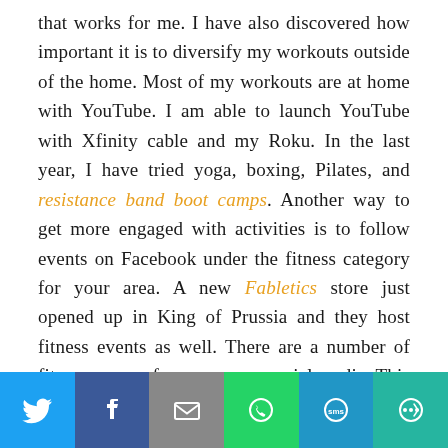that works for me. I have also discovered how important it is to diversify my workouts outside of the home. Most of my workouts are at home with YouTube. I am able to launch YouTube with Xfinity cable and my Roku. In the last year, I have tried yoga, boxing, Pilates, and resistance band boot camps. Another way to get more engaged with activities is to follow events on Facebook under the fitness category for your area. A new Fabletics store just opened up in King of Prussia and they host fitness events as well. There are a number of fitness groups for women on social media. This is a great way to engage with other women interested in fitness and learn from one another.
[Figure (infographic): Social share bar with icons for Twitter, Facebook, Email, WhatsApp, SMS, and More]